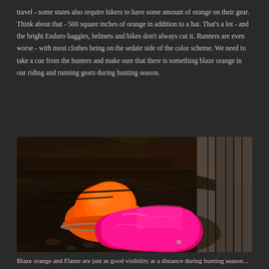travel - some states also require hikers to have some amount of orange on their gear. Think about that - 500 square inches of orange in addition to a hat. That's a lot - and the bright Enduro baggies, helmets and bikes don't always cut it. Runners are even worse - with most clothes being on the sedate side of the color scheme. We need to take a cue from the hunters and make sure that there is something blaze orange in our riding and running gears during hunting season.
[Figure (photo): Outdoor photo of an orange blaze hunting cap with reflective trim and a bright pink/magenta jacket or bag, resting on dark wet logs with a weathered wooden fence in the background.]
Blaze orange and Flame are just as good visibility at a distance during hunting season...